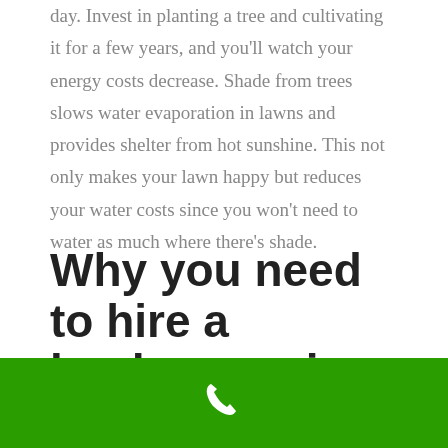day. Invest in planting a tree and cultivating it for a few years, and you'll watch your energy costs decrease. Shade from trees slows water evaporation in lawns and provides shelter from hot sunshine. This not only makes your lawn happy but reduces your water costs since you won't need to water as much where there's shade.
Why you need to hire a landscaper in Canaan, ME
Aside from the interior of the house, it is also
[Figure (other): Green call-to-action bar with a white phone icon in the center]